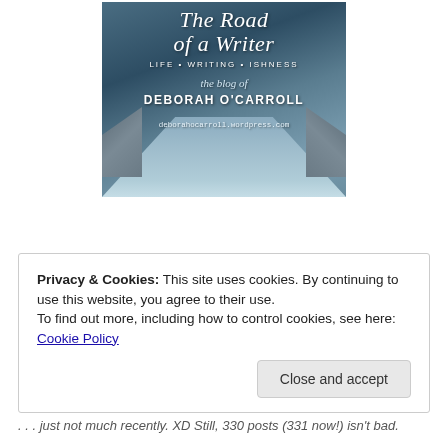[Figure (illustration): Blog header image for 'The Road of a Writer' — a blue-toned photo of a stone bridge/path with text overlay: title in script font, subtitle 'Life • Writing • Ishness', 'the blog of', 'Deborah O'Carroll', and URL deborahocarroll.wordpress.com]
Privacy & Cookies: This site uses cookies. By continuing to use this website, you agree to their use.
To find out more, including how to control cookies, see here: Cookie Policy
Close and accept
. . . just not much recently. XD Still, 330 posts (331 now!) isn't bad.